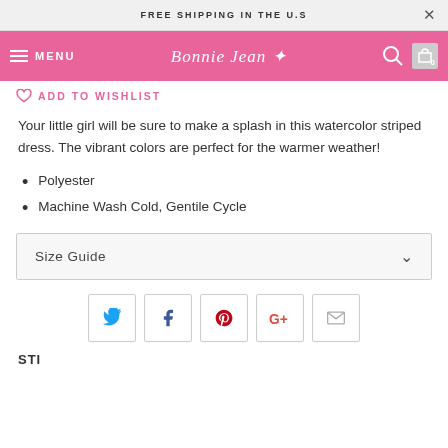FREE SHIPPING IN THE U.S
MENU  Bonnie Jean  0
ADD TO WISHLIST
Your little girl will be sure to make a splash in this watercolor striped dress. The vibrant colors are perfect for the warmer weather!
Polyester
Machine Wash Cold, Gentile Cycle
Size Guide
[Figure (other): Social sharing buttons: Twitter, Facebook, Pinterest, Google+, Email]
STI